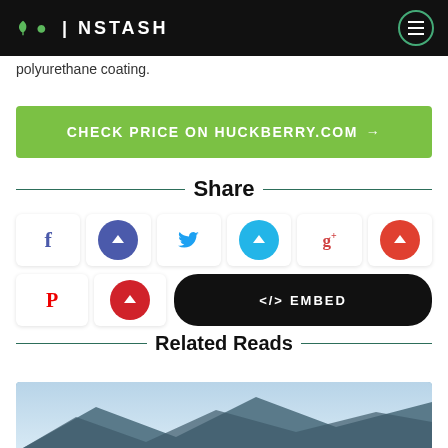INSTASH
polyurethane coating.
CHECK PRICE ON HUCKBERRY.COM →
Share
[Figure (infographic): Social share buttons row: Facebook, Instapaper (indigo), Twitter, Instapaper (cyan), Google+, Instapaper (orange-red)]
[Figure (infographic): Share buttons row 2: Pinterest, Instapaper (red), and Embed button]
Related Reads
[Figure (photo): Thumbnail image of mountainous landscape]